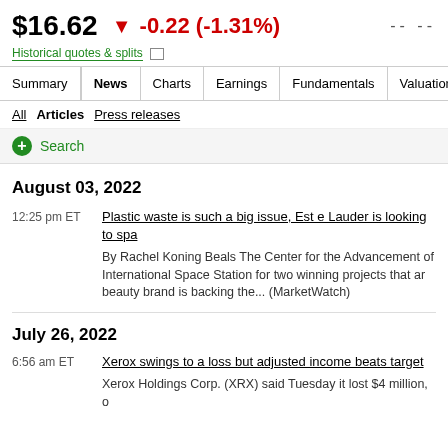$16.62  ▼ -0.22 (-1.31%)  -- --
Historical quotes & splits
Summary | News | Charts | Earnings | Fundamentals | Valuation | C
All  Articles  Press releases
+ Search
August 03, 2022
12:25 pm ET
Plastic waste is such a big issue, Est e Lauder is looking to spa
By Rachel Koning Beals The Center for the Advancement of International Space Station for two winning projects that ar beauty brand is backing the... (MarketWatch)
July 26, 2022
6:56 am ET
Xerox swings to a loss but adjusted income beats target
Xerox Holdings Corp. (XRX) said Tuesday it lost $4 million, o